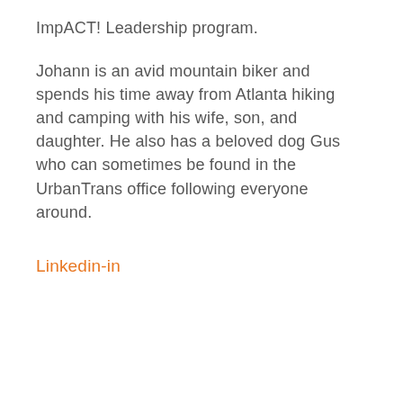ImpACT! Leadership program.
Johann is an avid mountain biker and spends his time away from Atlanta hiking and camping with his wife, son, and daughter. He also has a beloved dog Gus who can sometimes be found in the UrbanTrans office following everyone around.
Linkedin-in